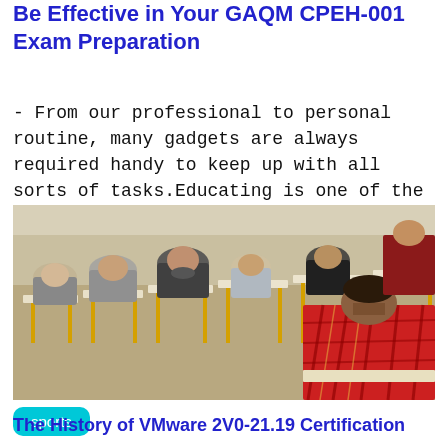Be Effective in Your GAQM CPEH-001 Exam Preparation
- From our professional to personal routine, many gadgets are always required handy to keep up with all sorts of tasks.Educating is one of the few professions the
[Figure (photo): Photograph of students sitting at desks in an examination hall, viewed from the back, writing their exams. Yellow wooden chair legs visible. One student in foreground wears a red plaid shirt.]
sports
The History of VMware 2V0-21.19 Certification